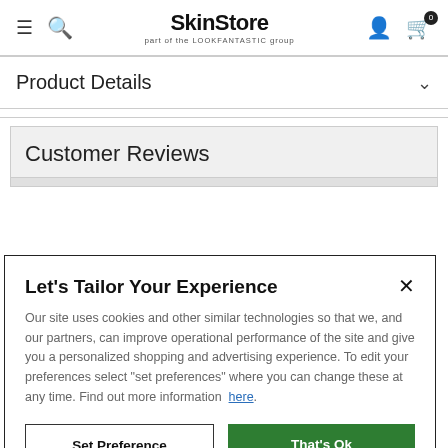SkinStore – part of the LOOKFANTASTIC group
Product Details
Customer Reviews
Let's Tailor Your Experience
Our site uses cookies and other similar technologies so that we, and our partners, can improve operational performance of the site and give you a personalized shopping and advertising experience. To edit your preferences select "set preferences" where you can change these at any time. Find out more information here.
Set Preference
That's Ok